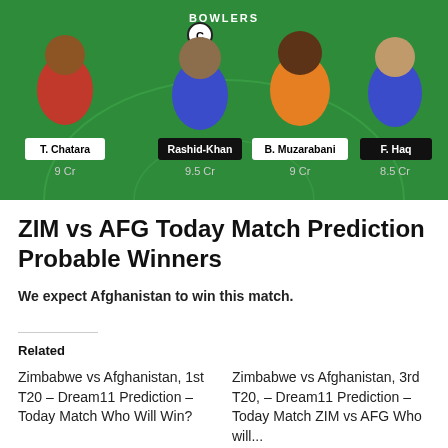[Figure (photo): Cricket fantasy team bowlers lineup on a green cricket field background showing 4 players: T. Chatara (9 Cr), Rashid-Khan (9.5 Cr, captain C badge), B. Muzarabani (9 Cr), F. Haq (8.5 Cr). Label 'BOWLERS' at top.]
ZIM vs AFG Today Match Prediction Probable Winners
We expect Afghanistan to win this match.
Related
Zimbabwe vs Afghanistan, 1st T20 – Dream11 Prediction – Today Match Who Will Win?
Zimbabwe vs Afghanistan, 3rd T20, – Dream11 Prediction – Today Match ZIM vs AFG Who will...